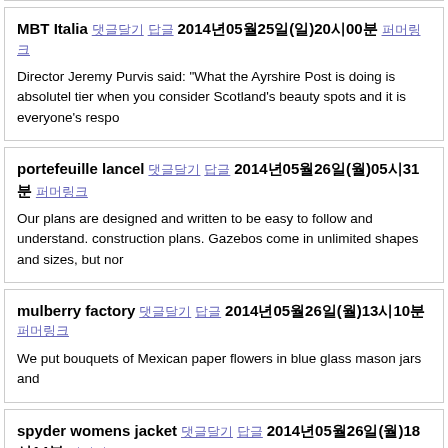MBT Italia 댓글달기 답글 2014년05월25일(일)20시00분 퍼머링크
Director Jeremy Purvis said: "What the Ayrshire Post is doing is absolutely tier when you consider Scotland's beauty spots and it is everyone's respo
portefeuille lancel 댓글달기 답글 2014년05월26일(월)05시31분 퍼머링크
Our plans are designed and written to be easy to follow and understand. construction plans. Gazebos come in unlimited shapes and sizes, but nor
mulberry factory 댓글달기 답글 2014년05월26일(월)13시10분 퍼머링크
We put bouquets of Mexican paper flowers in blue glass mason jars and
spyder womens jacket 댓글달기 답글 2014년05월26일(월)18시14분 퍼머링크
Betseyville by Betsey Johnson offers up the for the young and young at h Betseyville bow print patterns and is an open top bag. The bag offers up a removable bottle holder. The bag also comes with a really cute baby set i It is available at